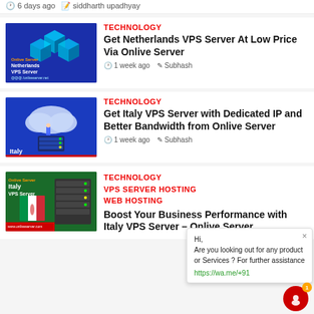6 days ago   siddharth upadhyay
[Figure (illustration): Netherlands VPS Server promotional image with blue background and 3D server cubes]
TECHNOLOGY
Get Netherlands VPS Server At Low Price Via Onlive Server
1 week ago   Subhash
[Figure (illustration): Italy VPS Server promotional image with blue background and cloud/server illustration]
TECHNOLOGY
Get Italy VPS Server with Dedicated IP and Better Bandwidth from Onlive Server
1 week ago   Subhash
[Figure (illustration): Italy VPS Server promotional image with green/red background and server rack]
TECHNOLOGY
VPS SERVER HOSTING
WEB HOSTING
Boost Your Business Performance with Italy VPS Server – Onlive Server